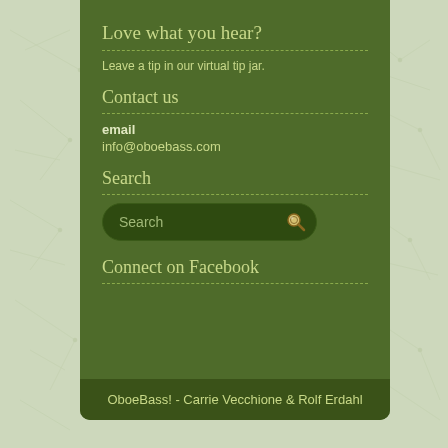Love what you hear?
Leave a tip in our virtual tip jar.
Contact us
email
info@oboebass.com
Search
[Figure (screenshot): A rounded search box with placeholder text 'Search' and a magnifying glass icon on the right]
Connect on Facebook
OboeBass! - Carrie Vecchione & Rolf Erdahl